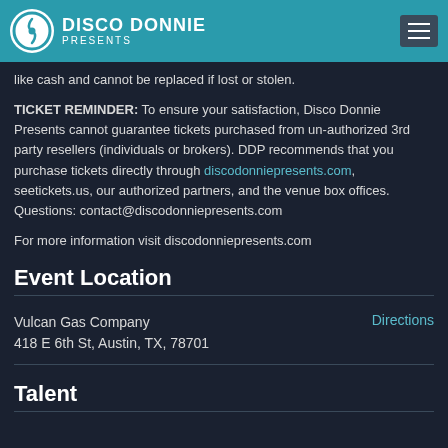Disco Donnie Presents
like cash and cannot be replaced if lost or stolen.
TICKET REMINDER: To ensure your satisfaction, Disco Donnie Presents cannot guarantee tickets purchased from un-authorized 3rd party resellers (individuals or brokers). DDP recommends that you purchase tickets directly through discodonniepresents.com, seetickets.us, our authorized partners, and the venue box offices. Questions: contact@discodonniepresents.com
For more information visit discodonniepresents.com
Event Location
Vulcan Gas Company
418 E 6th St, Austin, TX, 78701
Talent